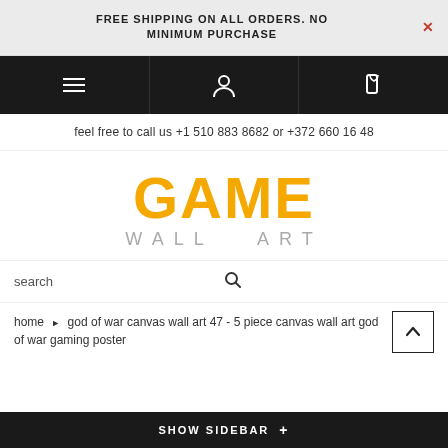FREE SHIPPING ON ALL ORDERS. NO MINIMUM PURCHASE
[Figure (screenshot): Navigation bar with hamburger menu, user icon, and cart icon on dark background]
feel free to call us +1 510 883 8682 or +372 660 16 48
[Figure (logo): GAME WALL ART logo with orange GAME text and grey WALL ART subtitle]
search
home › god of war canvas wall art 47 - 5 piece canvas wall art god of war gaming poster
SHOW SIDEBAR +